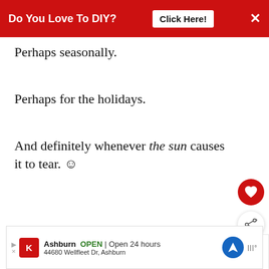[Figure (screenshot): Red banner advertisement: 'Do You Love To DIY? Click Here!' with X close button]
Perhaps seasonally.
Perhaps for the holidays.
And definitely whenever the sun causes it to tear. ☺
[Figure (screenshot): Heart (favorite) button - red circle with white heart icon]
[Figure (screenshot): Share button - white circle with share icon]
[Figure (screenshot): What's Next panel: How To Make Ring Clip...]
[Figure (screenshot): Advertisement bar: Kroger Ashburn OPEN Open 24 hours, 44680 Wellfleet Dr, Ashburn]